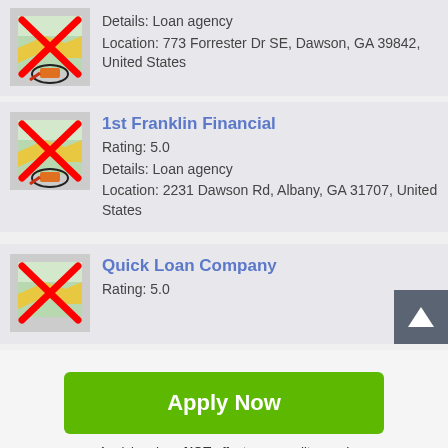[Figure (screenshot): Map icon with red X overlay for first partial listing]
Details: Loan agency
Location: 773 Forrester Dr SE, Dawson, GA 39842, United States
[Figure (screenshot): Map icon with red X overlay for 1st Franklin Financial]
1st Franklin Financial
Rating: 5.0
Details: Loan agency
Location: 2231 Dawson Rd, Albany, GA 31707, United States
[Figure (screenshot): Map icon with red X overlay for Quick Loan Company]
Quick Loan Company
Rating: 5.0
Apply Now
Applying does NOT affect your credit score!
No credit check to apply.